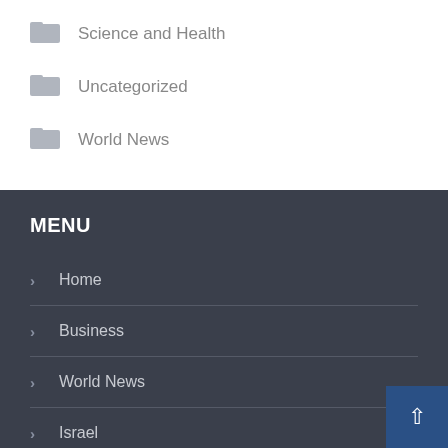Science and Health
Uncategorized
World News
MENU
Home
Business
World News
Israel
Science and Health